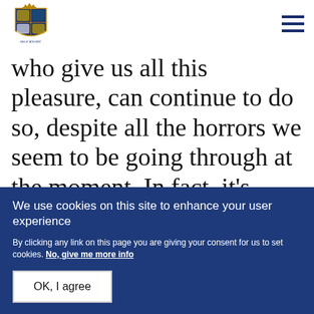UK Government logo and navigation menu
who give us all this pleasure, can continue to do so, despite all the horrors we seem to be going through at the moment. In fact, it's even
We use cookies on this site to enhance your user experience
By clicking any link on this page you are giving your consent for us to set cookies. No, give me more info
OK, I agree